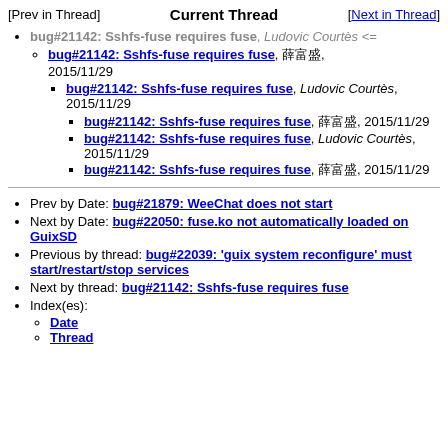[Prev in Thread]   Current Thread   [Next in Thread]
bug#21142: Sshfs-fuse requires fuse, Ludovic Courtès <=
bug#21142: Sshfs-fuse requires fuse, 薛富盛, 2015/11/29
bug#21142: Sshfs-fuse requires fuse, Ludovic Courtès, 2015/11/29
bug#21142: Sshfs-fuse requires fuse, 薛富盛, 2015/11/29
bug#21142: Sshfs-fuse requires fuse, Ludovic Courtès, 2015/11/29
bug#21142: Sshfs-fuse requires fuse, 薛富盛, 2015/11/29
Prev by Date: bug#21879: WeeChat does not start
Next by Date: bug#22050: fuse.ko not automatically loaded on GuixSD
Previous by thread: bug#22039: 'guix system reconfigure' must start/restart/stop services
Next by thread: bug#21142: Sshfs-fuse requires fuse
Index(es):
Date
Thread